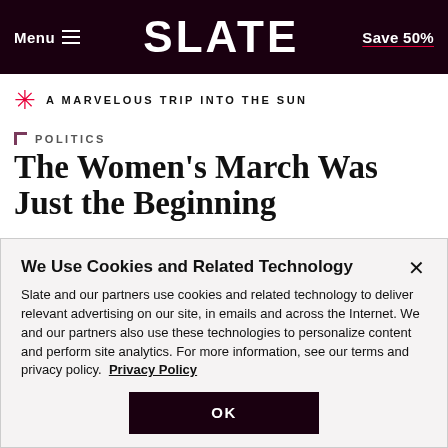Menu  SLATE  Save 50%
A MARVELOUS TRIP INTO THE SUN
POLITICS
The Women's March Was Just the Beginning
We Use Cookies and Related Technology
Slate and our partners use cookies and related technology to deliver relevant advertising on our site, in emails and across the Internet. We and our partners also use these technologies to personalize content and perform site analytics. For more information, see our terms and privacy policy.  Privacy Policy
OK